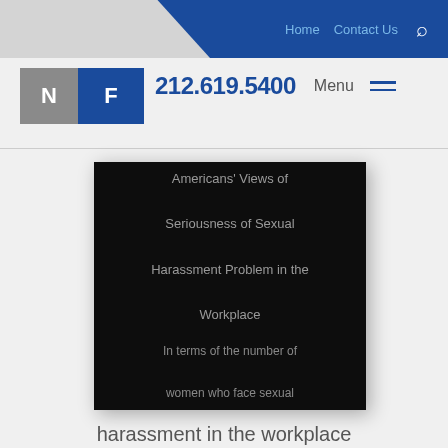Home  Contact Us  🔍
[Figure (logo): NF law firm logo with gray N block and blue F block]
212.619.5400  Menu
[Figure (photo): Black background image box with text: Americans' Views of Seriousness of Sexual Harassment Problem in the Workplace. In terms of the number of women who face sexual]
harassment in the workplace